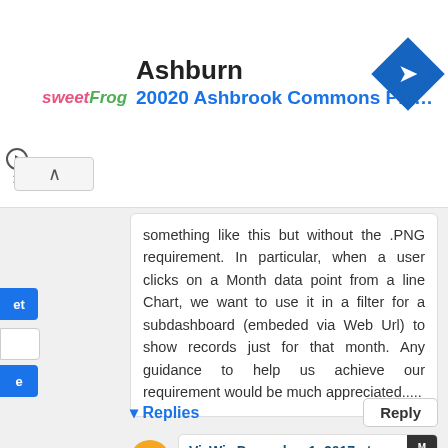[Figure (screenshot): Advertisement banner for sweetFrog at 20020 Ashbrook Commons Pla... with navigation icon]
something like this but without the .PNG requirement. In particular, when a user clicks on a Month data point from a line Chart, we want to use it in a filter for a subdashboard (embeded via Web Url) to show records just for that month. Any guidance to help us achieve our requirement would be much appreciated.....
Replies
VizWiz December 1, 2017 at 8:06 AM MOD
As far as I know, action filters can't be passed through to the url.